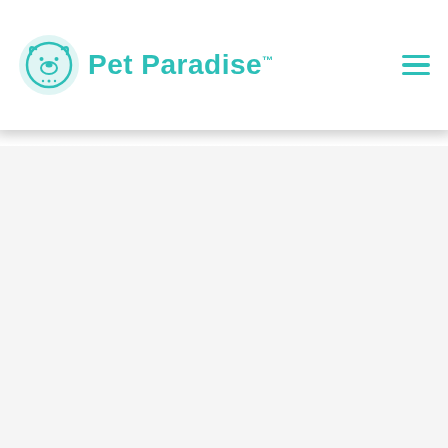Pet Paradise
[Figure (logo): Pet Paradise logo with teal dog face icon and teal text 'Pet Paradise']